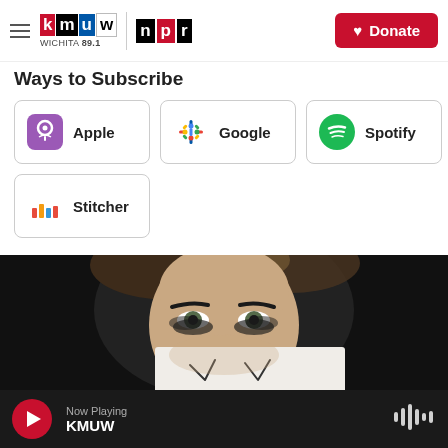KMUW Wichita 89.1 | NPR | Donate
Ways to Subscribe
Apple
Google
Spotify
Stitcher
[Figure (photo): Woman with dark eye makeup smudged, holding a white paper/sign partially obscuring the lower half of her face, against a dark background]
Now Playing KMUW